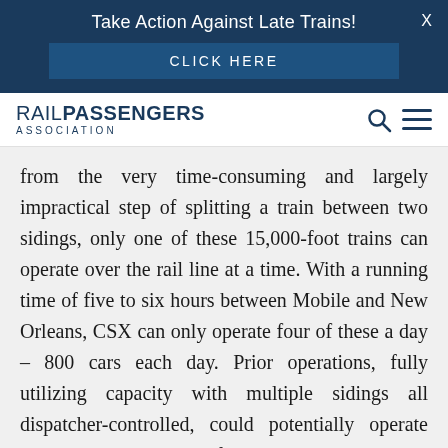Take Action Against Late Trains!
[Figure (screenshot): Click Here button banner for Rail Passengers Association action campaign]
[Figure (logo): Rail Passengers Association logo with search and menu icons]
from the very time-consuming and largely impractical step of splitting a train between two sidings, only one of these 15,000-foot trains can operate over the rail line at a time. With a running time of five to six hours between Mobile and New Orleans, CSX can only operate four of these a day – 800 cars each day. Prior operations, fully utilizing capacity with multiple sidings all dispatcher-controlled, could potentially operate sixteen daily 110-car freight trains, totaling a potential of 1,500